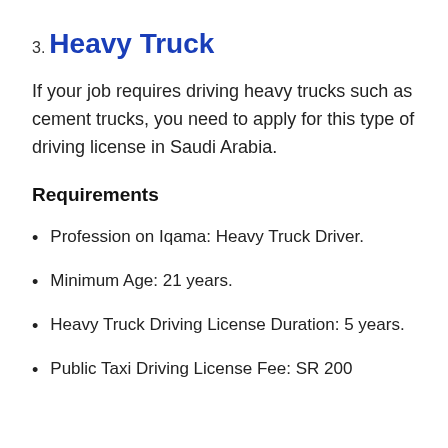3. Heavy Truck
If your job requires driving heavy trucks such as cement trucks, you need to apply for this type of driving license in Saudi Arabia.
Requirements
Profession on Iqama: Heavy Truck Driver.
Minimum Age: 21 years.
Heavy Truck Driving License Duration: 5 years.
Public Taxi Driving License Fee: SR 200